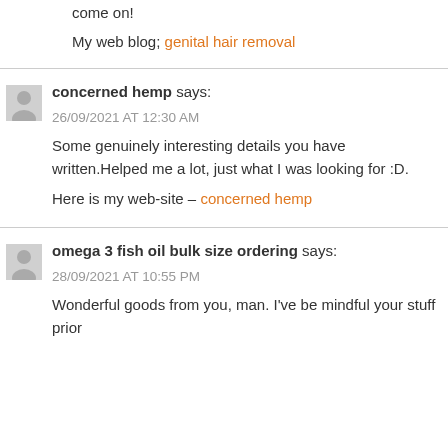come on!
My web blog; genital hair removal
concerned hemp says:
26/09/2021 AT 12:30 AM
Some genuinely interesting details you have written.Helped me a lot, just what I was looking for :D.
Here is my web-site – concerned hemp
omega 3 fish oil bulk size ordering says:
28/09/2021 AT 10:55 PM
Wonderful goods from you, man. I've be mindful your stuff prior